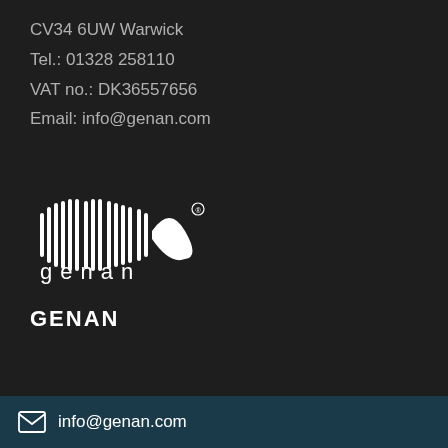CV34 6UW Warwick
Tel.: 01328 258110
VAT no.: DK36557656
Email: info@genan.com
[Figure (logo): Genan logo with barcode-style graphic and wordmark 'genan' below]
GENAN
info@genan.com